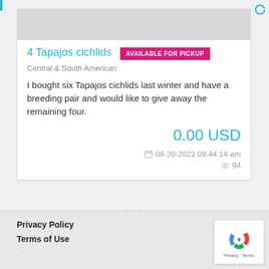4 Tapajos cichlids
AVAILABLE FOR PICKUP
Central & South American
I bought six Tapajos cichlids last winter and have a breeding pair and would like to give away the remaining four.
0.00 USD
08-20-2022 09:44:14 am
94
Privacy Policy
Terms of Use